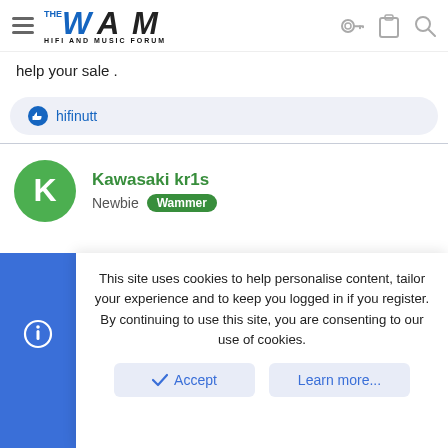THE WAM HIFI AND MUSIC FORUM
help your sale .
hifinutt
Kawasaki kr1s
Newbie Wammer
This site uses cookies to help personalise content, tailor your experience and to keep you logged in if you register. By continuing to use this site, you are consenting to our use of cookies.
Accept  Learn more...